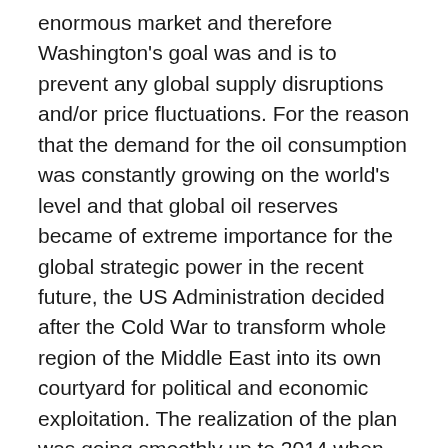enormous market and therefore Washington's goal was and is to prevent any global supply disruptions and/or price fluctuations. For the reason that the demand for the oil consumption was constantly growing on the world's level and that global oil reserves became of extreme importance for the global strategic power in the recent future, the US Administration decided after the Cold War to transform whole region of the Middle East into its own courtyard for political and economic exploitation. The realization of the plan was going smoothly up to 2014 when Moscow finally decided to crucially defend Syria from the American policy of global banditry, at the same year when the Western Russophobic DrangnachOsten policy was finally stopped in the Euromaidan's Ukraine. From this